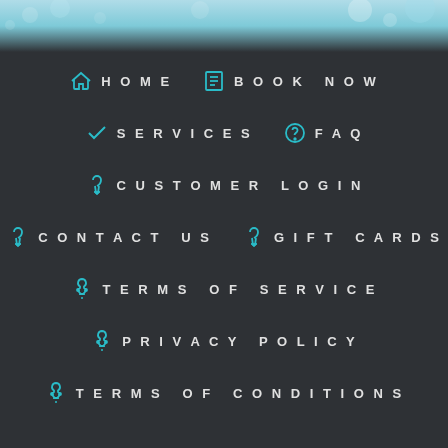[Figure (illustration): Blue watercolor/bubble decorative header band at top of page]
HOME
BOOK NOW
SERVICES
FAQ
CUSTOMER LOGIN
CONTACT US
GIFT CARDS
TERMS OF SERVICE
PRIVACY POLICY
TERMS OF CONDITIONS